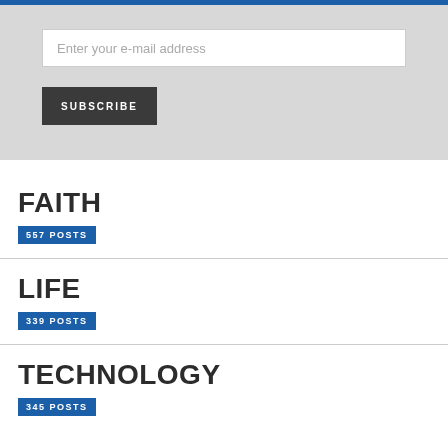Enter your e-mail address
SUBSCRIBE
FAITH
557 POSTS
LIFE
339 POSTS
TECHNOLOGY
345 POSTS